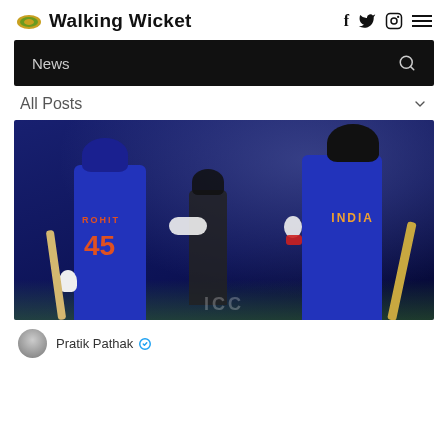Walking Wicket
News
All Posts
[Figure (photo): Two Indian cricket players in blue jerseys (Rohit #45 and a player with INDIA jersey) doing a fist bump on the pitch, with a third player visible in the background.]
Pratik Pathak